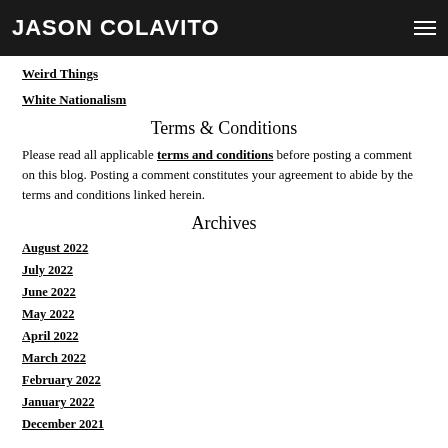JASON COLAVITO
Weird Things
White Nationalism
Terms & Conditions
Please read all applicable terms and conditions before posting a comment on this blog. Posting a comment constitutes your agreement to abide by the terms and conditions linked herein.
Archives
August 2022
July 2022
June 2022
May 2022
April 2022
March 2022
February 2022
January 2022
December 2021